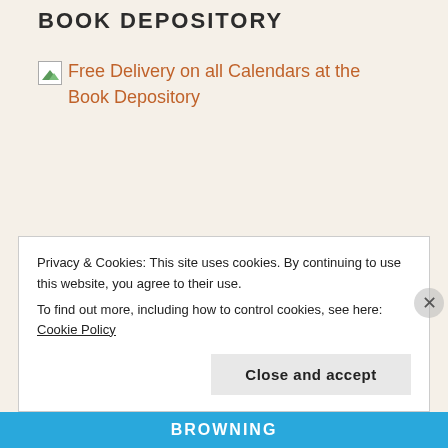BOOK DEPOSITORY
[Figure (other): Broken image placeholder followed by promotional link text: Free Delivery on all Calendars at the Book Depository]
Privacy & Cookies: This site uses cookies. By continuing to use this website, you agree to their use.
To find out more, including how to control cookies, see here: Cookie Policy
Close and accept